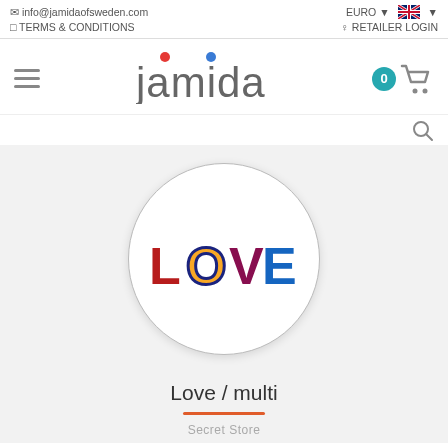info@jamidaofsweden.com  TERMS & CONDITIONS  EURO  RETAILER LOGIN
[Figure (logo): Jamida of Sweden logo with red and blue dots above letters j and i]
0
[Figure (illustration): A round white plate/coaster with the word LOVE written in colorful decorative letters: L in red, O with yellow circle and blue border, V in pink/dark red, E in teal/blue stripes]
Love / multi